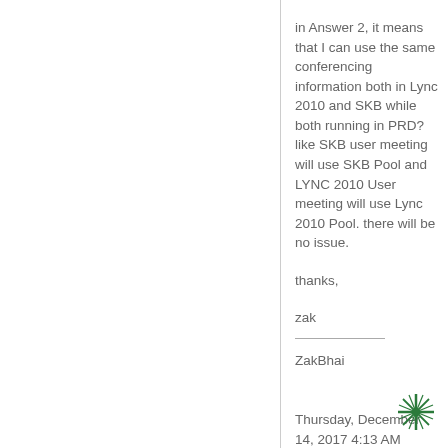in Answer 2, it means that I can use the same conferencing information both in Lync 2010 and SKB while both running in PRD? like SKB user meeting will use SKB Pool and LYNC 2010 User meeting will use Lync 2010 Pool. there will be no issue.
thanks,
zak
ZakBhai
Thursday, December 14, 2017 4:13 AM
[Figure (logo): Small green star/compass logo in bottom right corner]